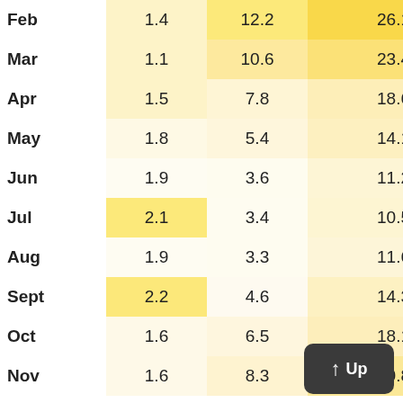| Month | Col1 | Col2 | Col3 |
| --- | --- | --- | --- |
| Feb | 1.4 | 12.2 | 26.1 |
| Mar | 1.1 | 10.6 | 23.4 |
| Apr | 1.5 | 7.8 | 18.6 |
| May | 1.8 | 5.4 | 14.1 |
| Jun | 1.9 | 3.6 | 11.2 |
| Jul | 2.1 | 3.4 | 10.5 |
| Aug | 1.9 | 3.3 | 11.6 |
| Sept | 2.2 | 4.6 | 14.3 |
| Oct | 1.6 | 6.5 | 18.1 |
| Nov | 1.6 | 8.3 | 20.8 |